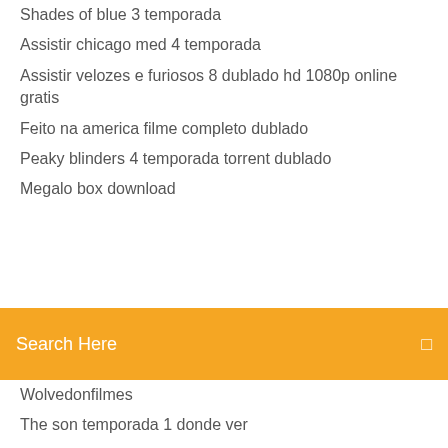Shades of blue 3 temporada
Assistir chicago med 4 temporada
Assistir velozes e furiosos 8 dublado hd 1080p online gratis
Feito na america filme completo dublado
Peaky blinders 4 temporada torrent dublado
Megalo box download
[Figure (screenshot): Orange search bar with 'Search Here' placeholder text and search icon]
Wolvedonfilmes
The son temporada 1 donde ver
As aventuras de pi completo dublado em portugues
Tudo por um pop star para baixar
Dragon ball broly download
Shinmai maou no testament departures blu ray
Filme zona fria dublado online
The vampire diaries 7 temporada download legendado
Baixar supergirl 2 temporada
Capitã marvel blu ray download